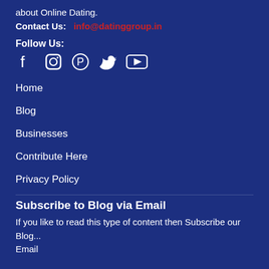about Online Dating.
Contact Us:  info@datinggroup.in
Follow Us:
[Figure (other): Social media icons: Facebook, Instagram, Pinterest, Twitter, YouTube]
Home
Blog
Businesses
Contribute Here
Privacy Policy
Subscribe to Blog via Email
If you like to read this type of content then Subscribe our Blog...
Email